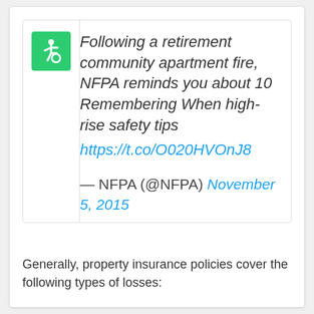[Figure (other): Tweet card with green accessibility icon on the left. Tweet text: 'Following a retirement community apartment fire, NFPA reminds you about 10 Remembering When high-rise safety tips https://t.co/O020HVOnJ8' attributed to — NFPA (@NFPA) November 5, 2015]
Generally, property insurance policies cover the following types of losses: